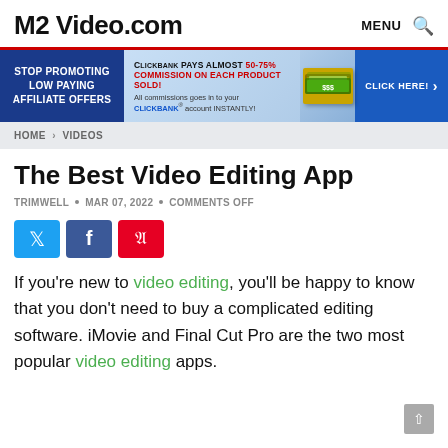M2 Video.com   MENU 🔍
[Figure (infographic): Advertisement banner: STOP PROMOTING LOW PAYING AFFILIATE OFFERS | CLICKBANK PAYS ALMOST 50-75% COMMISSION ON EACH PRODUCT SOLD! All commissions goes in to your CLICKBANK account INSTANTLY! | [money image] | CLICK HERE! >]
HOME > VIDEOS
The Best Video Editing App
TRIMWELL • MAR 07, 2022 • COMMENTS OFF
[Figure (infographic): Social share buttons: Twitter (blue), Facebook (dark blue), Pinterest (red)]
If you're new to video editing, you'll be happy to know that you don't need to buy a complicated editing software. iMovie and Final Cut Pro are the two most popular video editing apps.